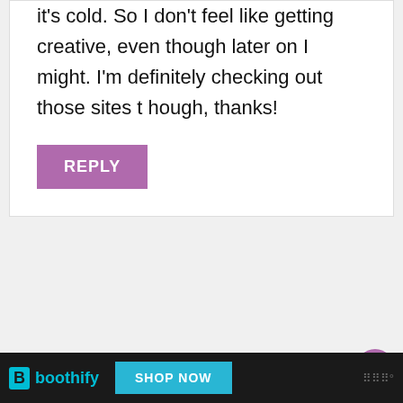it's cold. So I don't feel like getting creative, even though later on I might. I'm definitely checking out those sites though, thanks!
REPLY
Zoe
May 17, 2019 at 7:06 pm
[Figure (other): Boothify advertisement banner with Shop Now button]